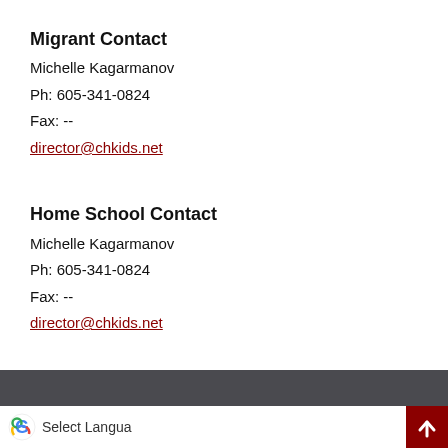Migrant Contact
Michelle Kagarmanov
Ph: 605-341-0824
Fax: --
director@chkids.net
Home School Contact
Michelle Kagarmanov
Ph: 605-341-0824
Fax: --
director@chkids.net
[Figure (screenshot): Dark gray footer bar with Google Translate widget and a dark red scroll-to-top button in the bottom right corner.]